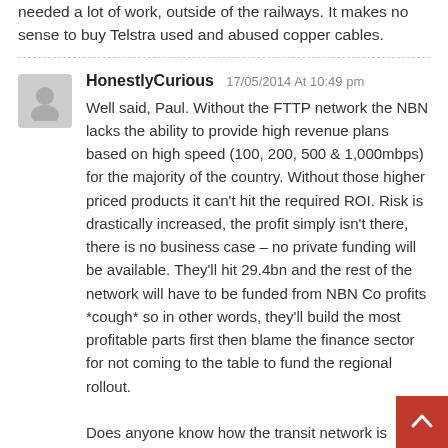needed a lot of work, outside of the railways. It makes no sense to buy Telstra used and abused copper cables.
HonestlyCurious 17/05/2014 At 10:49 pm
Well said, Paul. Without the FTTP network the NBN lacks the ability to provide high revenue plans based on high speed (100, 200, 500 & 1,000mbps) for the majority of the country. Without those higher priced products it can't hit the required ROI. Risk is drastically increased, the profit simply isn't there, there is no business case – no private funding will be available. They'll hit 29.4bn and the rest of the network will have to be funded from NBN Co profits *cough* so in other words, they'll build the most profitable parts first then blame the finance sector for not coming to the table to fund the regional rollout.

Does anyone know how the transit network is tracking? Is that still running on schedule? It wouldn't surprise me if they decided to save a